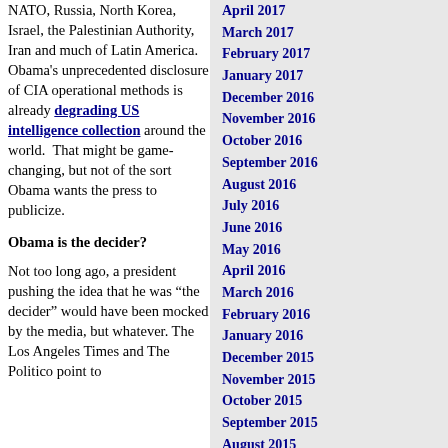NATO, Russia, North Korea, Israel, the Palestinian Authority, Iran and much of Latin America.  Obama's unprecedented disclosure of CIA operational methods is already degrading US intelligence collection around the world.  That might be game-changing, but not of the sort Obama wants the press to publicize.
Obama is the decider?
Not too long ago, a president pushing the idea that he was “the decider” would have been mocked by the media, but whatever. The Los Angeles Times and The Politico point to
April 2017
March 2017
February 2017
January 2017
December 2016
November 2016
October 2016
September 2016
August 2016
July 2016
June 2016
May 2016
April 2016
March 2016
February 2016
January 2016
December 2015
November 2015
October 2015
September 2015
August 2015
July 2015
June 2015
May 2015
April 2015
March 2015
February 2015
January 2015
December 2014
November 2014
October 2014
September 2014